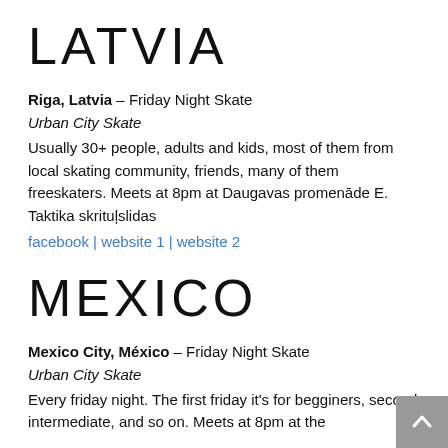LATVIA
Riga, Latvia – Friday Night Skate
Urban City Skate
Usually 30+ people, adults and kids, most of them from local skating community, friends, many of them freeskaters. Meets at 8pm at Daugavas promenāde E. Taktika skrituļslidas
facebook | website 1 | website 2
MEXICO
Mexico City, México – Friday Night Skate
Urban City Skate
Every friday night. The first friday it's for begginers, second intermediate, and so on. Meets at 8pm at the